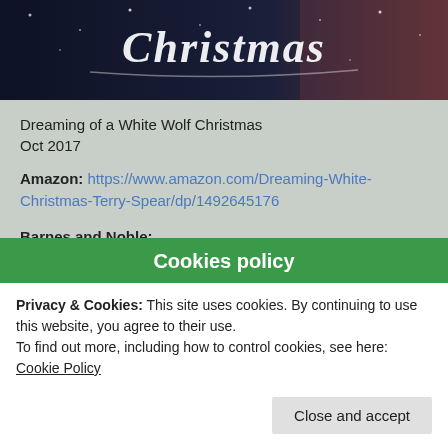[Figure (illustration): Book cover for 'Dreaming of a White Wolf Christmas' showing a dark blue/purple snowy night scene with cursive script title text in white/silver. Only the top portion of the cover is visible, cropped.]
Dreaming of a White Wolf Christmas
Oct 2017
Amazon: https://www.amazon.com/Dreaming-White-Christmas-Terry-Spear/dp/1492645176
Barnes and Noble: http://www.barnesandnoble.com/w/dreaming-of-a-white-wolf-christmas-terry-spear/1125526072?ean=9781492645184
iBooks: https://itunes.apple.com/us/book/dreaming-of-a-white-wolf-
Cookies policy
Privacy & Cookies: This site uses cookies. By continuing to use this website, you agree to their use.
To find out more, including how to control cookies, see here: Cookie Policy